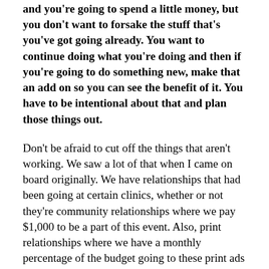and you're going to spend a little money, but you don't want to forsake the stuff that's you've got going already. You want to continue doing what you're doing and then if you're going to do something new, make that an add on so you can see the benefit of it. You have to be intentional about that and plan those things out.
Don't be afraid to cut off the things that aren't working. We saw a lot of that when I came on board originally. We have relationships that had been going at certain clinics, whether or not they're community relationships where we pay $1,000 to be a part of this event. Also, print relationships where we have a monthly percentage of the budget going to these print ads for these smaller local publications. I'll see value in those things, but typically it's not that top-level value. I see a lot of value coming from people